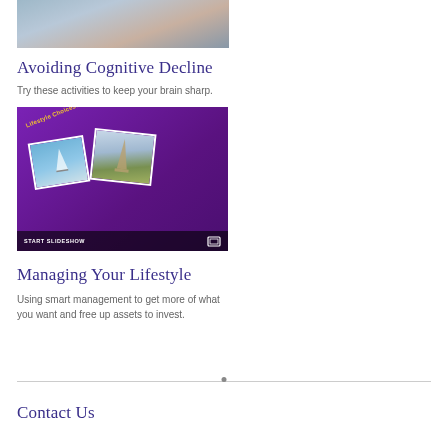[Figure (photo): Partial view of a person reclining on a couch, cropped at top of page]
Avoiding Cognitive Decline
Try these activities to keep your brain sharp.
[Figure (screenshot): Tablet showing a purple slideshow screen titled 'Lifestyle Choices: Luxury & Leisure' with polaroid-style photos of a sailboat and Eiffel Tower. A 'START SLIDESHOW' bar appears at bottom.]
Managing Your Lifestyle
Using smart management to get more of what you want and free up assets to invest.
Contact Us